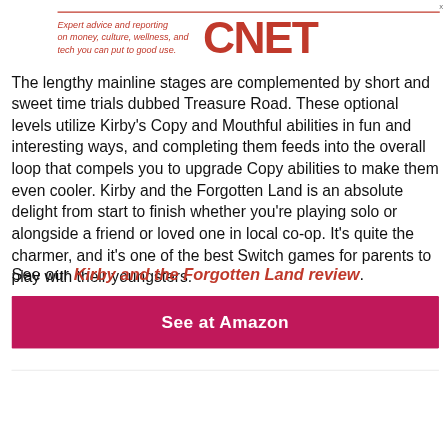[Figure (logo): CNET logo with red text and tagline: Expert advice and reporting on money, culture, wellness, and tech you can put to good use.]
The lengthy mainline stages are complemented by short and sweet time trials dubbed Treasure Road. These optional levels utilize Kirby's Copy and Mouthful abilities in fun and interesting ways, and completing them feeds into the overall loop that compels you to upgrade Copy abilities to make them even cooler. Kirby and the Forgotten Land is an absolute delight from start to finish whether you're playing solo or alongside a friend or loved one in local co-op. It's quite the charmer, and it's one of the best Switch games for parents to play with their youngsters.
See our Kirby and the Forgotten Land review.
See at Amazon